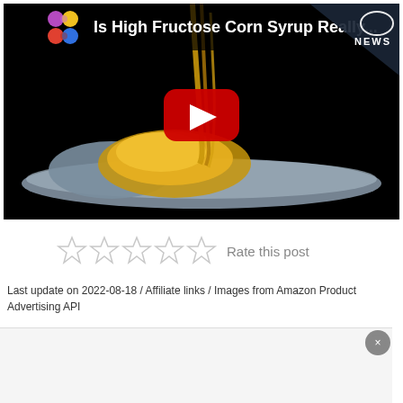[Figure (screenshot): YouTube video thumbnail showing 'Is High Fructose Corn Syrup Really...' with Discovery News logo, a spoon with golden syrup being poured on it against a black background, and a red YouTube play button overlay.]
[Figure (other): Five empty star rating icons with text 'Rate this post' to the right.]
Last update on 2022-08-18 / Affiliate links / Images from Amazon Product Advertising API